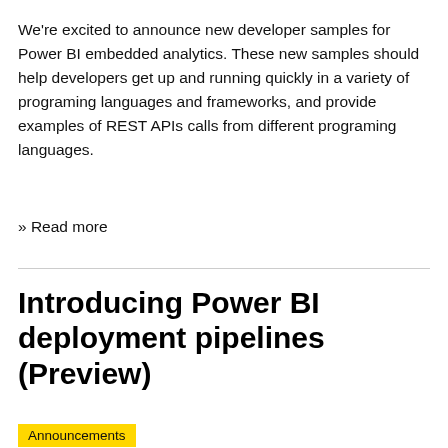We're excited to announce new developer samples for Power BI embedded analytics. These new samples should help developers get up and running quickly in a variety of programing languages and frameworks, and provide examples of REST APIs calls from different programing languages.
» Read more
Introducing Power BI deployment pipelines (Preview)
Announcements